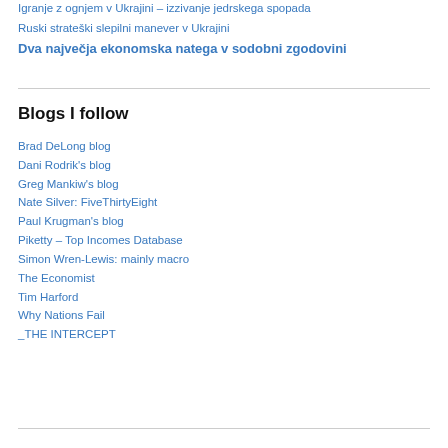Igranje z ognjem v Ukrajini – izzivanje jedrskega spopada
Ruski strateški slepilni manever v Ukrajini
Dva največja ekonomska natega v sodobni zgodovini
Blogs I follow
Brad DeLong blog
Dani Rodrik's blog
Greg Mankiw's blog
Nate Silver: FiveThirtyEight
Paul Krugman's blog
Piketty – Top Incomes Database
Simon Wren-Lewis: mainly macro
The Economist
Tim Harford
Why Nations Fail
_THE INTERCEPT